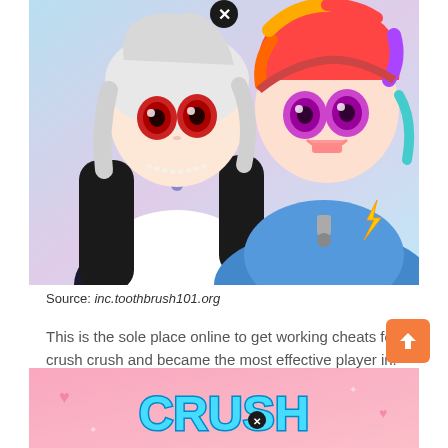[Figure (illustration): Anime-style illustration of two female characters: one with white/grey hair wearing black outfit, one with rainbow-colored hair wearing a blue outfit with yellow lightning bolt badge. A black circular X button appears at the top center.]
Source: inc.toothbrush101.org
This is the sole place online to get working cheats for crush crush and became the most effective player in. About crush crush crush crush is an amazing casual based game.
[Figure (illustration): Bottom banner showing colorful 'CRUSH' game logo text on a pink background with hearts and sparkles.]